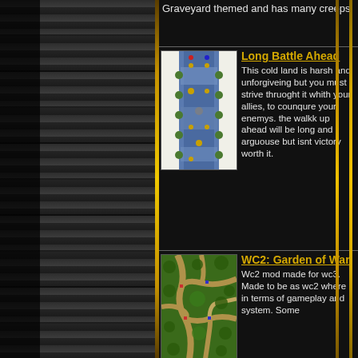Graveyard themed and has many creeps.
Long Battle Ahead
This cold land is harsh and unforgiveing but you must strive thruoght it whith your allies, to counqure your enemys. the walkk up ahead will be long and arguouse but isnt victory worth it.
WC2: Garden of War
Wc2 mod made for wc3. Made to be as wc2 where in terms of gameplay and system. Some